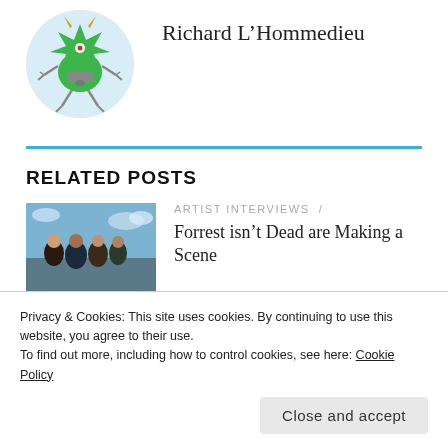[Figure (illustration): Circular avatar with light blue background showing a green cartoon monster character with one eye, horns, and limbs.]
Richard L'Hommedieu
RELATED POSTS
[Figure (photo): Thumbnail photo of a group of people outdoors, appears to be a band photo.]
ARTIST INTERVIEWS /
Forrest isn't Dead are Making a Scene
Privacy & Cookies: This site uses cookies. By continuing to use this website, you agree to their use.
To find out more, including how to control cookies, see here: Cookie Policy
Close and accept